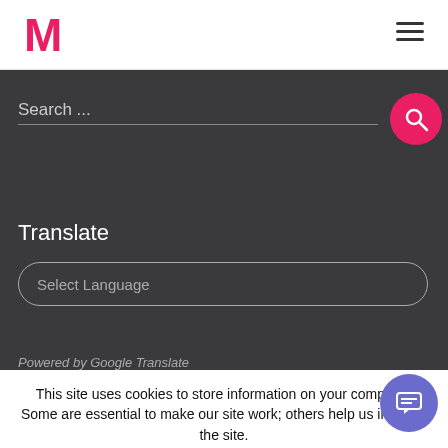M
Search ...
Translate
Select Language
This site uses cookies to store information on your computer. Some are essential to make our site work; others help us improve the site. By continuing to use this site, you consent to the placement of these cookies.
Accept
Read More